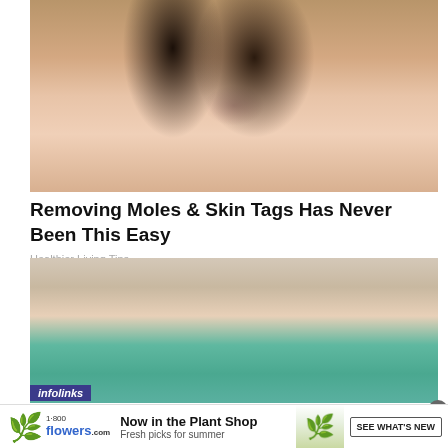[Figure (photo): Close-up photo of a woman with dark hair applying a white tool or strip to her nose area, demonstrating a skin care technique]
Removing Moles & Skin Tags Has Never Been This Easy
Healthier Living Tips
[Figure (photo): Partial photo of a woman in a teal top showing skin on her neck/chest area]
infolinks
[Figure (photo): Advertisement banner for 1-800-Flowers.com showing plant shop promotion with a potted monstera plant]
Now in the Plant Shop Fresh picks for summer
SEE WHAT'S NEW